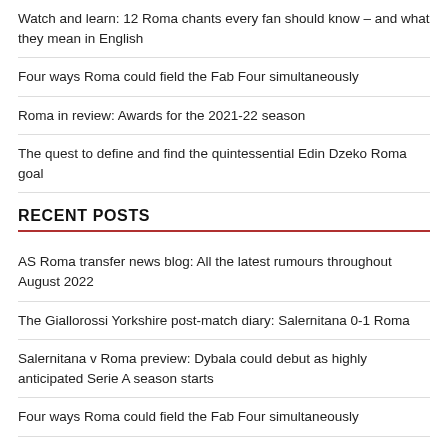Watch and learn: 12 Roma chants every fan should know – and what they mean in English
Four ways Roma could field the Fab Four simultaneously
Roma in review: Awards for the 2021-22 season
The quest to define and find the quintessential Edin Dzeko Roma goal
RECENT POSTS
AS Roma transfer news blog: All the latest rumours throughout August 2022
The Giallorossi Yorkshire post-match diary: Salernitana 0-1 Roma
Salernitana v Roma preview: Dybala could debut as highly anticipated Serie A season starts
Four ways Roma could field the Fab Four simultaneously
Carles Perez completes Roma departure on initial loan to Celta